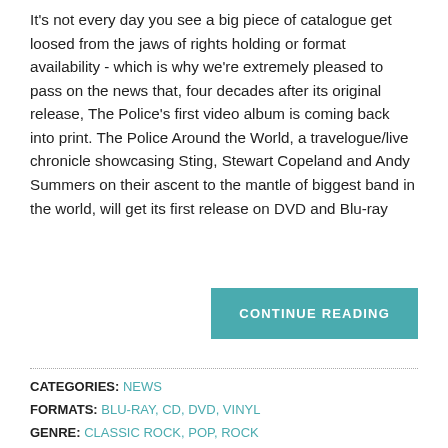It's not every day you see a big piece of catalogue get loosed from the jaws of rights holding or format availability - which is why we're extremely pleased to pass on the news that, four decades after its original release, The Police's first video album is coming back into print. The Police Around the World, a travelogue/live chronicle showcasing Sting, Stewart Copeland and Andy Summers on their ascent to the mantle of biggest band in the world, will get its first release on DVD and Blu-ray
CONTINUE READING
CATEGORIES: NEWS
FORMATS: BLU-RAY, CD, DVD, VINYL
GENRE: CLASSIC ROCK, POP, ROCK